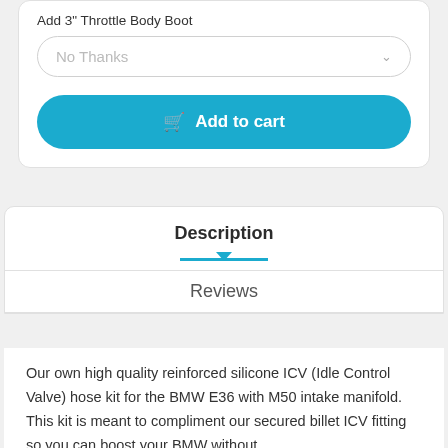Add 3" Throttle Body Boot
No Thanks
Add to cart
Description
Reviews
Our own high quality reinforced silicone ICV (Idle Control Valve) hose kit for the BMW E36 with M50 intake manifold.  This kit is meant to compliment our secured billet ICV fitting so you can boost your BMW without